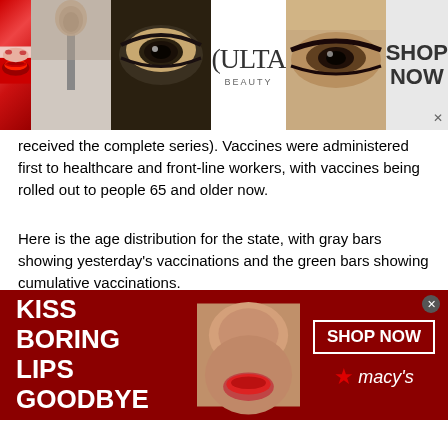[Figure (photo): Top advertisement banner for Ulta Beauty showing cosmetics imagery (lips, makeup brush, eye makeup), Ulta logo, more eye makeup, and 'SHOP NOW' call to action]
received the complete series). Vaccines were administered first to healthcare and front-line workers, with vaccines being rolled out to people 65 and older now.
Here is the age distribution for the state, with gray bars showing yesterday's vaccinations and the green bars showing cumulative vaccinations.
[Figure (bar-chart): Partial bar chart showing FL COVID vaccinations on & thru Feb 21. Y-axis shows 40% and 45% gridlines. Legend: Cumulative: 2,698,591 (teal) and Feb 21: 46,638 (gray). Teal bar reaches approximately 43%, gray bar approximately 41%.]
[Figure (photo): Bottom advertisement banner: dark red background with 'KISS BORING LIPS GOODBYE' text on left, woman's face in center, 'SHOP NOW' button and Macy's star logo on right]